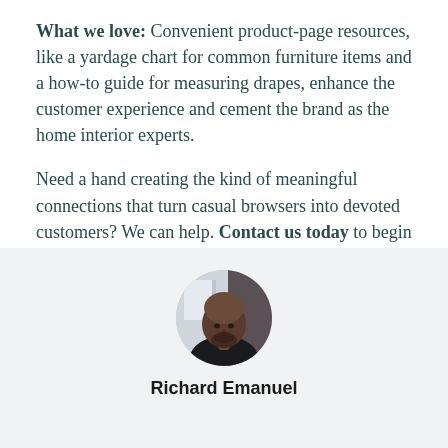What we love: Convenient product-page resources, like a yardage chart for common furniture items and a how-to guide for measuring drapes, enhance the customer experience and cement the brand as the home interior experts.
Need a hand creating the kind of meaningful connections that turn casual browsers into devoted customers? We can help. Contact us today to begin reimagining your home interior online store.
[Figure (photo): Circular portrait photo of Richard Emanuel, a bald Black man wearing a dark shirt, set against a light office background.]
Richard Emanuel